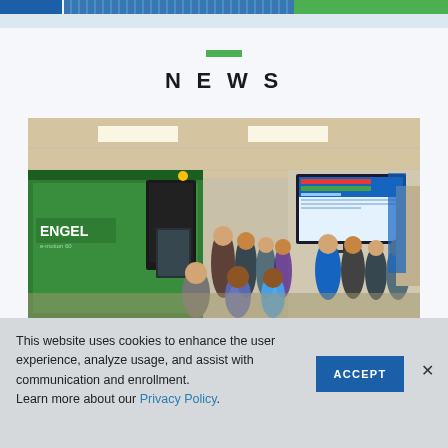NEWS
[Figure (photo): Group of people gathered around a large green ENGEL e-motion injection molding machine in a classroom or lab setting, with a presenter pointing at a screen/control panel, and a large monitor display on the wall showing software interface.]
This website uses cookies to enhance the user experience, analyze usage, and assist with communication and enrollment.
Learn more about our Privacy Policy.